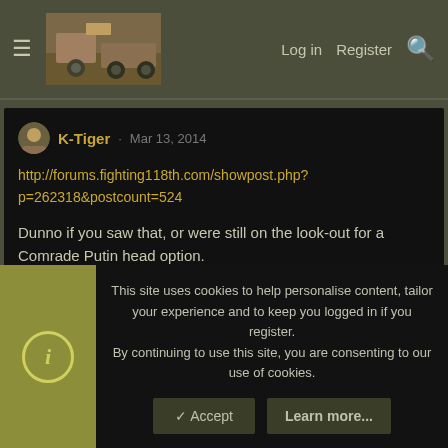Log in  Register
K-Tiger · Mar 13, 2014
http://forums.fighting118th.com/showpost.php?p=262318&postcount=524
Dunno if you saw that, or were still on the look-out for a Comrade Putin head option.
NSA · Mar 21, 2013
This site uses cookies to help personalise content, tailor your experience and to keep you logged in if you register.
By continuing to use this site, you are consenting to our use of cookies.